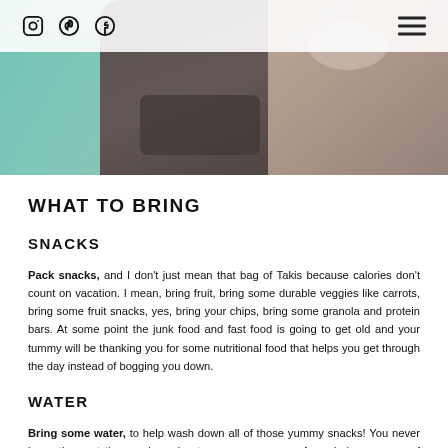Instagram Pinterest Facebook [hamburger menu]
[Figure (photo): Person in a teal/mint green hoodie inside a car, holding something, with another person visible in the background. Interior car scene.]
WHAT TO BRING
SNACKS
Pack snacks, and I don't just mean that bag of Takis because calories don't count on vacation. I mean, bring fruit, bring some durable veggies like carrots, bring some fruit snacks, yes, bring your chips, bring some granola and protein bars. At some point the junk food and fast food is going to get old and your tummy will be thanking you for some nutritional food that helps you get through the day instead of bogging you down.
WATER
Bring some water, to help wash down all of those yummy snacks! You never know the next time you're going to come across a safe and clean source of water so over pack the water from the start. You can stash a pack of water